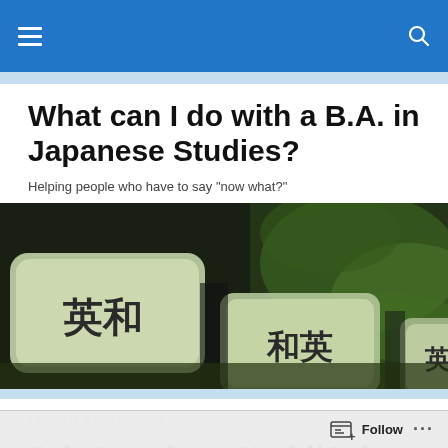Navigation bar with hamburger menu and search icon
What can I do with a B.A. in Japanese Studies?
Helping people who have to say "now what?"
[Figure (photo): Close-up photograph of Japanese electronic dictionary keys showing kanji characters 英和 (English-Japanese) and 和英 (Japanese-English) on pale green keys against a dark background with green bokeh.]
TAGGED WITH WORLD HISTORY
Job Opening: World/Asian History Idaho State University